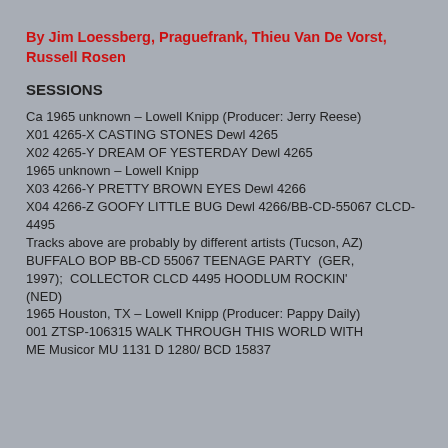By Jim Loessberg, Praguefrank, Thieu Van De Vorst, Russell Rosen
SESSIONS
Ca 1965 unknown – Lowell Knipp (Producer: Jerry Reese)
X01 4265-X CASTING STONES Dewl 4265
X02 4265-Y DREAM OF YESTERDAY Dewl 4265
1965 unknown – Lowell Knipp
X03 4266-Y PRETTY BROWN EYES Dewl 4266
X04 4266-Z GOOFY LITTLE BUG Dewl 4266/BB-CD-55067 CLCD-4495
Tracks above are probably by different artists (Tucson, AZ)
BUFFALO BOP BB-CD 55067 TEENAGE PARTY  (GER, 1997);  COLLECTOR CLCD 4495 HOODLUM ROCKIN' (NED)
1965 Houston, TX – Lowell Knipp (Producer: Pappy Daily)
001 ZTSP-106315 WALK THROUGH THIS WORLD WITH ME Musicor MU 1131 D 1280/ BCD 15837